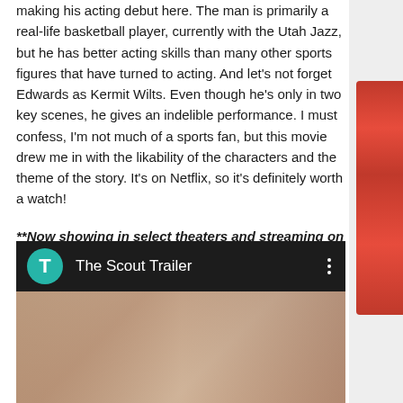making his acting debut here. The man is primarily a real-life basketball player, currently with the Utah Jazz, but he has better acting skills than many other sports figures that have turned to acting. And let's not forget Edwards as Kermit Wilts. Even though he's only in two key scenes, he gives an indelible performance. I must confess, I'm not much of a sports fan, but this movie drew me in with the likability of the characters and the theme of the story. It's on Netflix, so it's definitely worth a watch!
**Now showing in select theaters and streaming on Netflix
The Scout (1994)
[Figure (screenshot): YouTube-style video embed showing 'The Scout Trailer' with a teal avatar circle with letter T, video title text in white on dark background, three-dot menu icon, and a movie thumbnail below showing partial faces from what appears to be a film scene.]